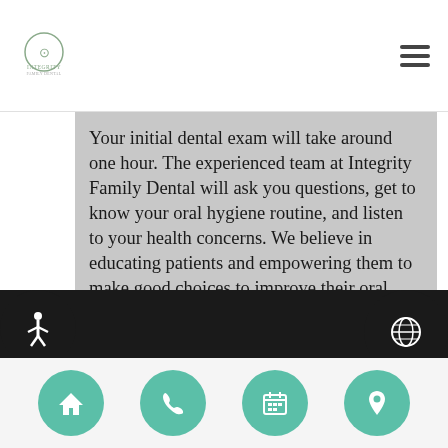Integrity Family Dental logo and navigation menu
Your initial dental exam will take around one hour. The experienced team at Integrity Family Dental will ask you questions, get to know your oral hygiene routine, and listen to your health concerns. We believe in educating patients and empowering them to make good choices to improve their oral health. We will demonstrate how to properly care for your teeth and make additional suggestions as needed. Our dental hygienist will clean your teeth then Dr. Alani will complete your examination and make recommendations for proposed dental treatments.
[Figure (other): Bottom navigation bar with accessibility icon, globe icon, home button, phone button, calendar button, and location button in teal circular icons]